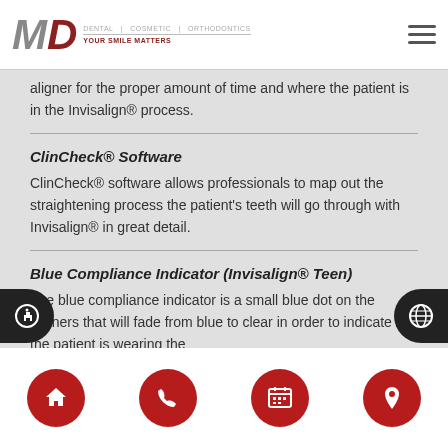MD [logo] — dental/medical practice header with hamburger menu
aligner for the proper amount of time and where the patient is in the Invisalign® process.
ClinCheck® Software
ClinCheck® software allows professionals to map out the straightening process the patient's teeth will go through with Invisalign® in great detail.
Blue Compliance Indicator (Invisalign® Teen)
The blue compliance indicator is a small blue dot on the aligners that will fade from blue to clear in order to indicate if the patient is wearing the